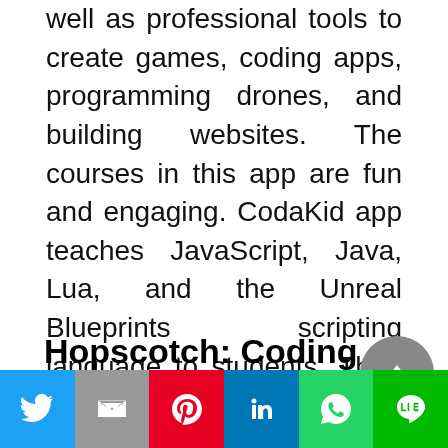well as professional tools to create games, coding apps, programming drones, and building websites. The courses in this app are fun and engaging. CodaKid app teaches JavaScript, Java, Lua, and the Unreal Blueprints scripting language to students. Their coding courses teach booleans, conditionals, loops, variables, methods, arrays, switch statements, and functions, among others, for budding coders.
Hopscotch: Coding App for kids
[Figure (other): Social sharing footer bar with Twitter (blue), Gmail/Email (gray), Pinterest (red), LinkedIn (blue), WhatsApp (teal/green), Line (green) icons]